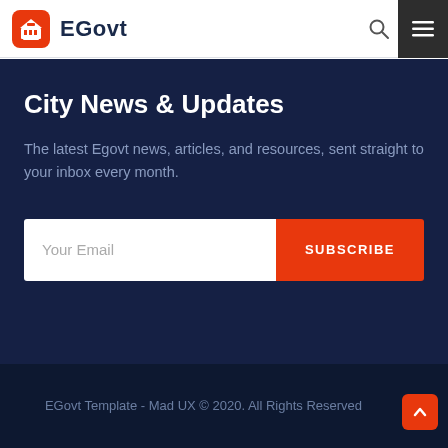EGovt
City News & Updates
The latest Egovt news, articles, and resources, sent straight to your inbox every month.
Your Email | SUBSCRIBE
EGovt Template - Mad UX © 2020. All Rights Reserved